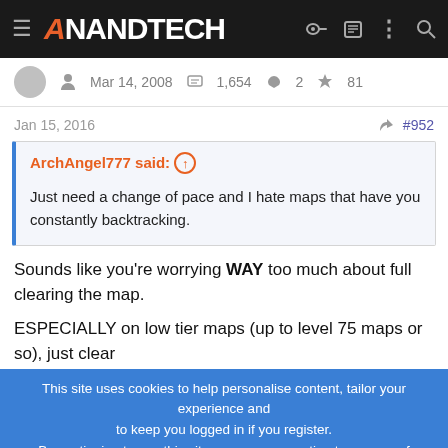AnandTech
Mar 14, 2008  1,654  2  81
Jan 15, 2016  #952
ArchAngel777 said: ↑

Just need a change of pace and I hate maps that have you constantly backtracking.
Sounds like you're worrying WAY too much about full clearing the map.

ESPECIALLY on low tier maps (up to level 75 maps or so), just clear
This site uses cookies to help personalise content, tailor your experience and to keep you logged in if you register.
By continuing to use this site, you are consenting to our use of cookies.
[Figure (screenshot): Tech Leadership Awards 2022 advertisement banner: Celebrating the people and products shaping the future of media technology. NOMINATE TODAY.]